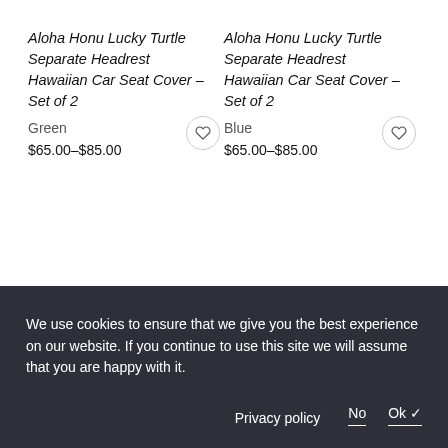Aloha Honu Lucky Turtle Separate Headrest Hawaiian Car Seat Cover – Set of 2
Green
$65.00–$85.00
Aloha Honu Lucky Turtle Separate Headrest Hawaiian Car Seat Cover – Set of 2
Blue
$65.00–$85.00
We use cookies to ensure that we give you the best experience on our website. If you continue to use this site we will assume that you are happy with it.
Privacy policy   No   Ok ✓